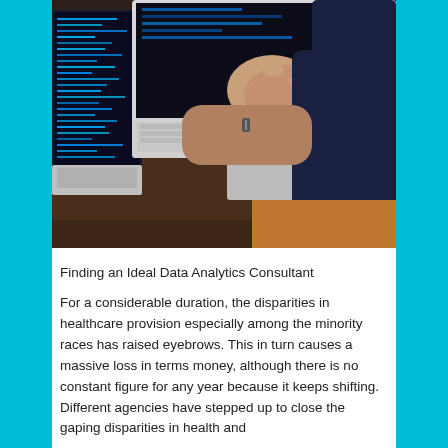[Figure (photo): Overhead view of a person using two laptops on a dark wooden desk. One laptop displays colorful data/code screens, and the person's hands are visible working on the keyboard.]
Finding an Ideal Data Analytics Consultant
For a considerable duration, the disparities in healthcare provision especially among the minority races has raised eyebrows. This in turn causes a massive loss in terms money, although there is no constant figure for any year because it keeps shifting. Different agencies have stepped up to close the gaping disparities in health and